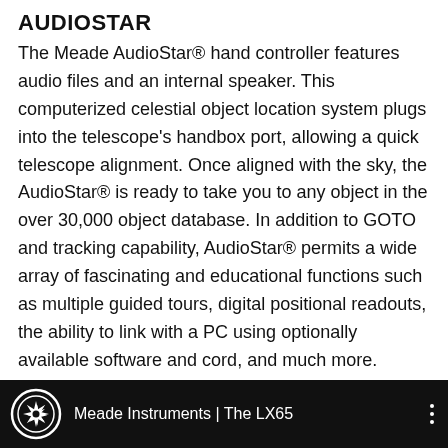AUDIOSTAR
The Meade AudioStar® hand controller features audio files and an internal speaker. This computerized celestial object location system plugs into the telescope's handbox port, allowing a quick telescope alignment. Once aligned with the sky, the AudioStar® is ready to take you to any object in the over 30,000 object database. In addition to GOTO and tracking capability, AudioStar® permits a wide array of fascinating and educational functions such as multiple guided tours, digital positional readouts, the ability to link with a PC using optionally available software and cord, and much more.
[Figure (screenshot): Black video bar with Meade Instruments logo (star symbol in circle) and text 'Meade Instruments | The LX65' with three-dot menu icon]